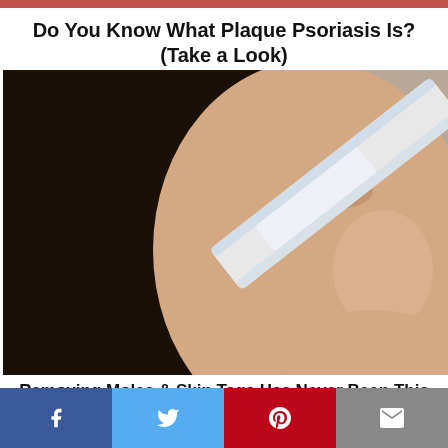Do You Know What Plaque Psoriasis Is? (Take a Look)
[Figure (photo): Close-up photo of a woman with dark hair applying a white nose strip or bandage across her nose, facing slightly to the side. Background is a neutral beige/tan color.]
Removing Moles & Skin Tags Has Never Been This Easy
[Figure (other): Social media share bar with four buttons: Facebook (blue), Twitter (light blue), Pinterest (red), and Email (gray)]